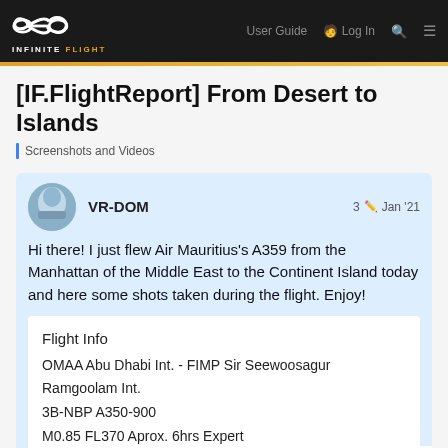Infinite Flight community forum navigation bar with logo, User Guide, Log In, Search, and Menu
[IF.FlightReport] From Desert to Islands
Screenshots and Videos
VR-DOM   3 🖊 Jan '21
Hi there! I just flew Air Mauritius's A359 from the Manhattan of the Middle East to the Continent Island today and here some shots taken during the flight. Enjoy!
Flight Info
OMAA Abu Dhabi Int. - FIMP Sir Seewoosagur Ramgoolam Int.
3B-NBP A350-900
M0.85 FL370 Aprox. 6hrs Expert
Our flight today, MK21, pushed back on ti…